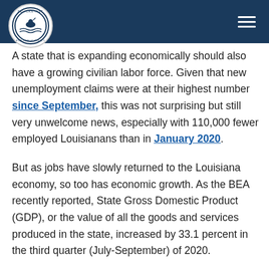Pelican Institute for Public Policy
A state that is expanding economically should also have a growing civilian labor force. Given that new unemployment claims were at their highest number since September, this was not surprising but still very unwelcome news, especially with 110,000 fewer employed Louisianans than in January 2020.
But as jobs have slowly returned to the Louisiana economy, so too has economic growth. As the BEA recently reported, State Gross Domestic Product (GDP), or the value of all the goods and services produced in the state, increased by 33.1 percent in the third quarter (July-September) of 2020. Unfortunately this is an unlikely long-term improvement and